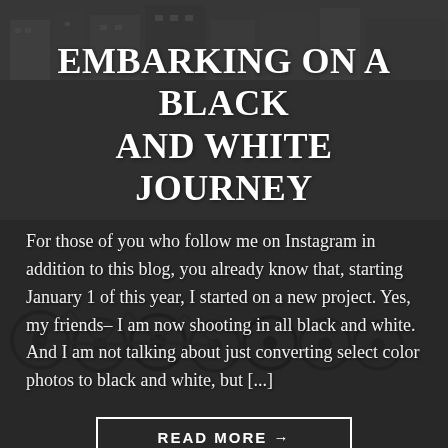[Figure (photo): Black and white photograph of a row of bicycles parked on a city street with buildings in the background, overlaid with a dark semi-transparent overlay.]
EMBARKING ON A BLACK AND WHITE JOURNEY
For those of you who follow me on Instagram in addition to this blog, you already know that, starting January 1 of this year, I started on a new project. Yes, my friends– I am now shooting in all black and white. And I am not talking about just converting select color photos to black and white, but [...]
READ MORE →